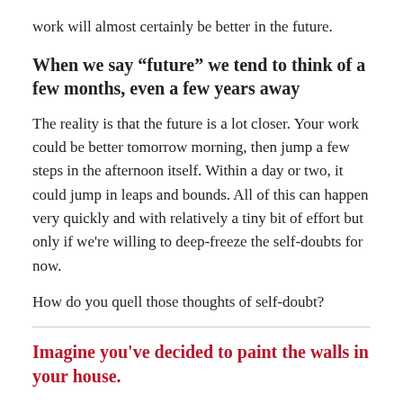work will almost certainly be better in the future.
When we say “future” we tend to think of a few months, even a few years away
The reality is that the future is a lot closer. Your work could be better tomorrow morning, then jump a few steps in the afternoon itself. Within a day or two, it could jump in leaps and bounds. All of this can happen very quickly and with relatively a tiny bit of effort but only if we’re willing to deep-freeze the self-doubts for now.
How do you quell those thoughts of self-doubt?
Imagine you've decided to paint the walls in your house.